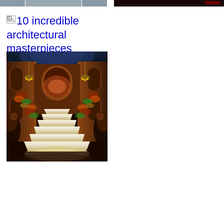[Figure (photo): Strip of small architectural photos at top left]
[Figure (photo): Dark architectural photo at top right]
10 incredible architectural masterpieces inspired by nature
[Figure (photo): Large ornate interior photo showing a grand staircase with floral decorations, chandeliers, and elaborate ceiling in a classical building]